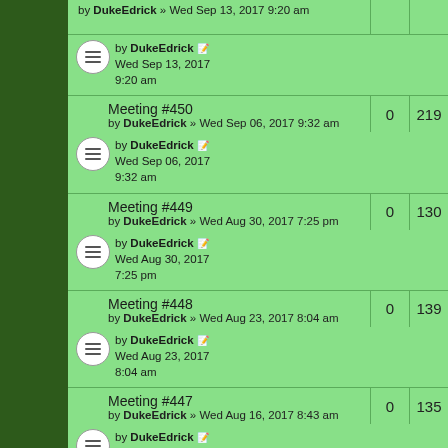by DukeEdrick » Wed Sep 13, 2017 9:20 am
by DukeEdrick Wed Sep 13, 2017 9:20 am
Meeting #450
by DukeEdrick » Wed Sep 06, 2017 9:32 am | 0 | 219
by DukeEdrick Wed Sep 06, 2017 9:32 am
Meeting #449
by DukeEdrick » Wed Aug 30, 2017 7:25 pm | 0 | 130
by DukeEdrick Wed Aug 30, 2017 7:25 pm
Meeting #448
by DukeEdrick » Wed Aug 23, 2017 8:04 am | 0 | 139
by DukeEdrick Wed Aug 23, 2017 8:04 am
Meeting #447
by DukeEdrick » Wed Aug 16, 2017 8:43 am | 0 | 135
by DukeEdrick